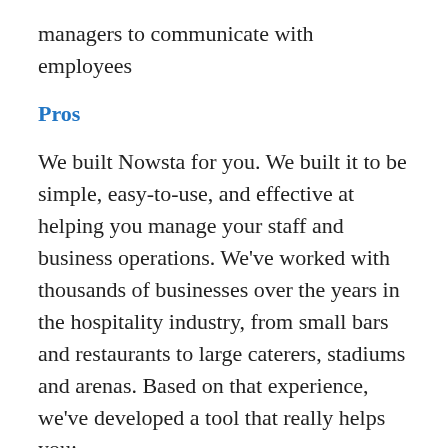managers to communicate with employees
Pros
We built Nowsta for you. We built it to be simple, easy-to-use, and effective at helping you manage your staff and business operations. We've worked with thousands of businesses over the years in the hospitality industry, from small bars and restaurants to large caterers, stadiums and arenas. Based on that experience, we've developed a tool that really helps you:
Save time
Reduce costs